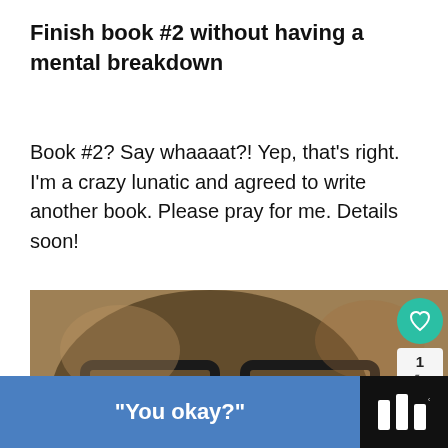Finish book #2 without having a mental breakdown
Book #2? Say whaaaat?! Yep, that's right. I'm a crazy lunatic and agreed to write another book. Please pray for me. Details soon!
[Figure (photo): Sepia-toned close-up photo of a cat wearing large black-rimmed glasses, lying on a newspaper or book]
WHAT'S NEXT → Goals for 2016
"You okay?"